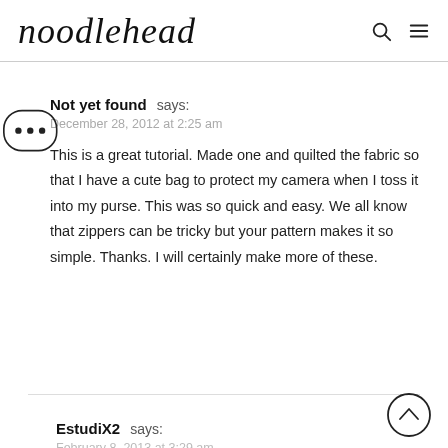noodlehead
Not yet found says:
December 28, 2012 at 2:25 am
This is a great tutorial. Made one and quilted the fabric so that I have a cute bag to protect my camera when I toss it into my purse. This was so quick and easy. We all know that zippers can be tricky but your pattern makes it so simple. Thanks. I will certainly make more of these.
EstudiX2 says:
February 8, 2013 at 3:29 am